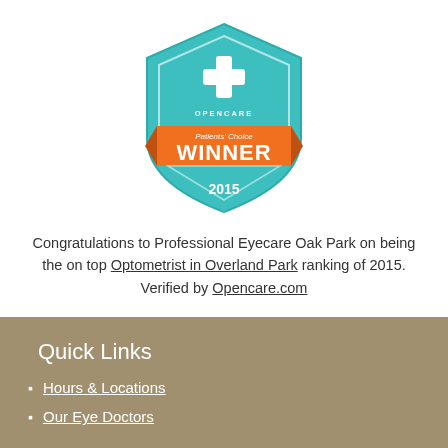[Figure (logo): Opencare Patients' Choice Winner 2015 badge — teal shield with medical cross icon and orange ribbon banner reading WINNER]
Congratulations to Professional Eyecare Oak Park on being the on top Optometrist in Overland Park ranking of 2015. Verified by Opencare.com
Quick Links
Hours & Locations
Our Eye Doctors